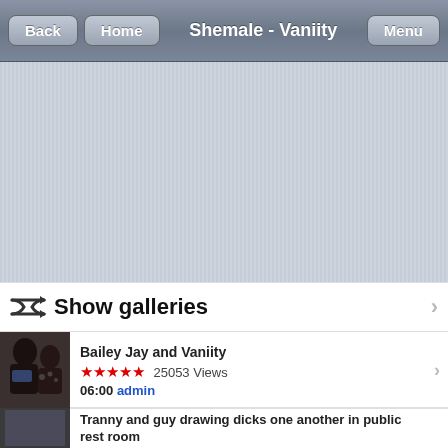Shemale - Vaniity
[Figure (screenshot): Striped grey background area (content area placeholder)]
Show galleries
[Figure (photo): Thumbnail image of Bailey Jay and Vaniity video]
Bailey Jay and Vaniity ★★★★★ 25053 Views 06:00 admin
[Figure (photo): Thumbnail image of second video (partially visible)]
Tranny and guy drawing dicks one another in public rest room